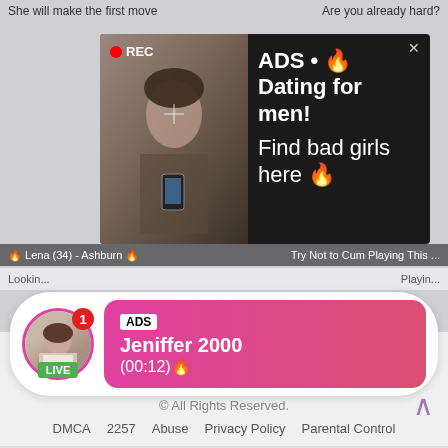She will make the first move
Are you already hard?
[Figure (screenshot): Dark popup ad with a photo of a woman taking a selfie, REC badge in top left, white face-detection rectangle overlay]
ADS • 🔥 Dating for men! Find bad girls here 🔥
🔥 Lena (34) - Ashburn 🔥
Try Not to Cum Playing This ...
Lookin...
Playin...
[Figure (screenshot): Notification card with circular avatar of woman, LIVE badge, red badge showing 1, pink gradient bubble with ADS label, name Jeniffer 2000, and timestamp (00:12)]
ADS Jeniffer 2000 (00:12)🔥
© All Rights Reserved.
DMCA  2257  Abuse  Privacy Policy  Parental Control